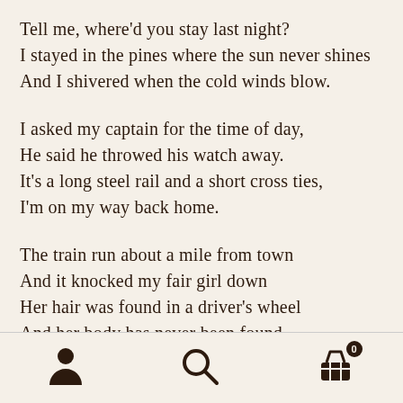Tell me, where'd you stay last night?
I stayed in the pines where the sun never shines
And I shivered when the cold winds blow.
I asked my captain for the time of day,
He said he throwed his watch away.
It's a long steel rail and a short cross ties,
I'm on my way back home.
The train run about a mile from town
And it knocked my fair girl down
Her hair was found in a driver's wheel
And her body has never been found.
Navigation icons: person, search, cart (0)